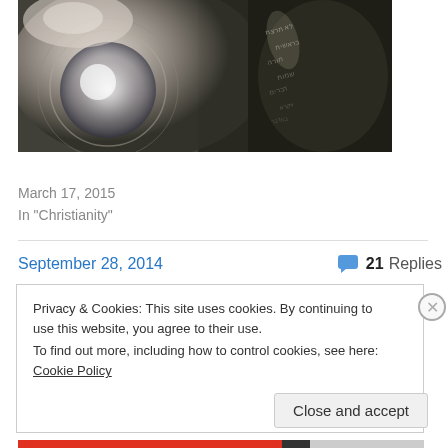[Figure (photo): Close-up black and white photo of a Torah scroll with Hebrew text visible on dark-colored roller/tube, with silver or metallic ornamental elements in soft focus]
Messianic Jews and the Torah
March 17, 2015
In "Christianity"
September 28, 2014
21 Replies
Privacy & Cookies: This site uses cookies. By continuing to use this website, you agree to their use.
To find out more, including how to control cookies, see here: Cookie Policy
Close and accept